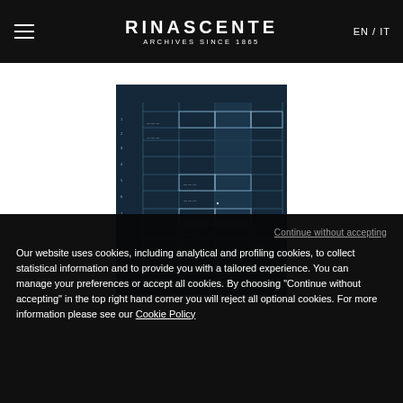RINASCENTE ARCHIVES SINCE 1865 EN / IT
[Figure (schematic): Blueprint/architectural drawing on dark navy background showing a grid-based floor plan or schedule chart with white line annotations]
Continue without accepting
Our website uses cookies, including analytical and profiling cookies, to collect statistical information and to provide you with a tailored experience. You can manage your preferences or accept all cookies. By choosing "Continue without accepting" in the top right hand corner you will reject all optional cookies. For more information please see our Cookie Policy